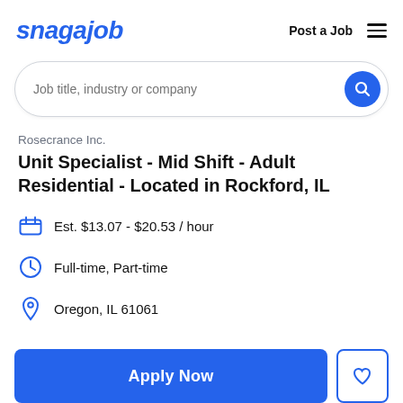snagajob   Post a Job
Job title, industry or company
Rosecrance Inc.
Unit Specialist - Mid Shift - Adult Residential - Located in Rockford, IL
Est. $13.07 - $20.53 / hour
Full-time, Part-time
Oregon, IL 61061
Apply Now